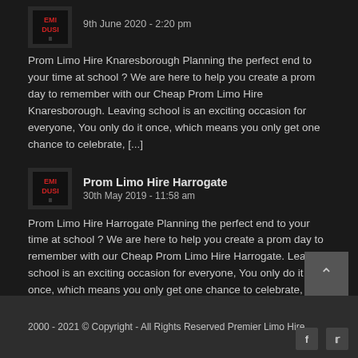[Figure (logo): EMI DUSII logo small square red and grey]
9th June 2020 - 2:20 pm
Prom Limo Hire Knaresborough Planning the perfect end to your time at school ? We are here to help you create a prom day to remember with our Cheap Prom Limo Hire Knaresborough. Leaving school is an exciting occasion for everyone, You only do it once, which means you only get one chance to celebrate, [...]
[Figure (logo): EMI DUSII logo square red and grey]
Prom Limo Hire Harrogate
30th May 2019 - 11:58 am
Prom Limo Hire Harrogate Planning the perfect end to your time at school ? We are here to help you create a prom day to remember with our Cheap Prom Limo Hire Harrogate. Leaving school is an exciting occasion for everyone, You only do it once, which means you only get one chance to celebrate, [...]
2000 - 2021 © Copyright - All Rights Reserved Premier Limo Hire